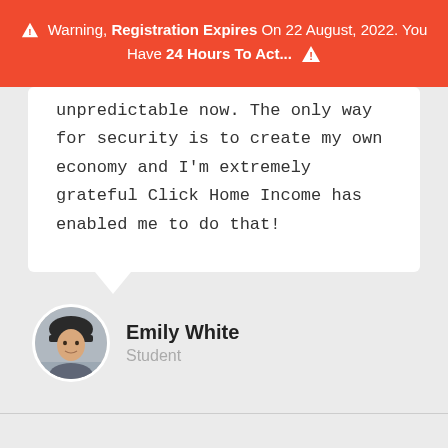⚠ Warning, Registration Expires On 22 August, 2022. You Have 24 Hours To Act... ⚠
unpredictable now. The only way for security is to create my own economy and I'm extremely grateful Click Home Income has enabled me to do that!
[Figure (photo): Circular avatar photo of Emily White, a young woman wearing a dark beanie hat, photographed outdoors]
Emily White
Student